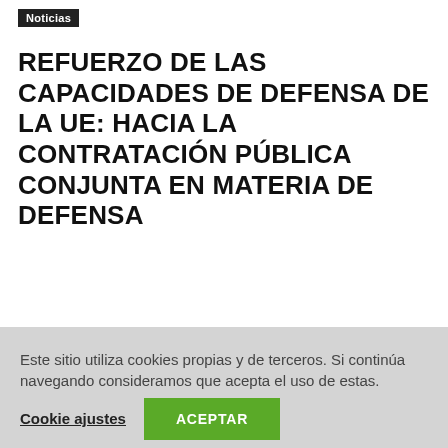Noticias
REFUERZO DE LAS CAPACIDADES DE DEFENSA DE LA UE: HACIA LA CONTRATACIÓN PÚBLICA CONJUNTA EN MATERIA DE DEFENSA
Este sitio utiliza cookies propias y de terceros. Si continúa navegando consideramos que acepta el uso de estas.
Cookie ajustes
ACEPTAR